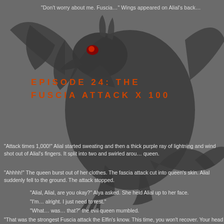“Don’t worry about me. Fuscia…” Wings appeared on Alial’s back…
EPISODE 24: THE FUSCIA ATTACK X 100
“Attack times 1,000!” Alial started sweating and then a thick purple ray of lightning and wind shot out of Alial’s fingers. It split into two and swirled around the queen.
“Ahhhh!” The queen burst out of her clothes. The fascia attack cut into the queen’s skin. Alial suddenly fell to the ground. The attack stopped.
“Alial, Alial, are you okay?” Alya asked. She held Alial up to her face.
“I’m… alright. I just need to rest.”
“What… was… that?” the evil queen mumbled.
“That was the strongest Fuscia attack the Elfin’s know. This time, you won’t recover. Your head is filling with hatred and despair. You don’t know anything.” Alya said.
“Don’t give me that speech again!”
“It’s true though…” Alya started.
“No, it isn’t. I loved, for a short period of time. Remember you h…